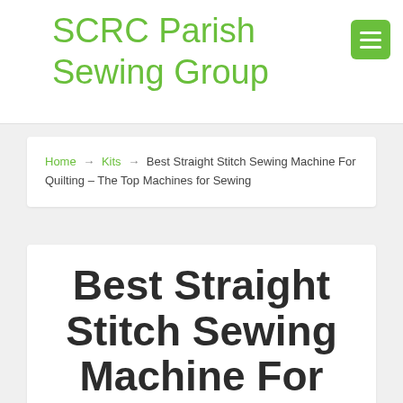SCRC Parish Sewing Group
Home → Kits → Best Straight Stitch Sewing Machine For Quilting – The Top Machines for Sewing
Best Straight Stitch Sewing Machine For Quilting –